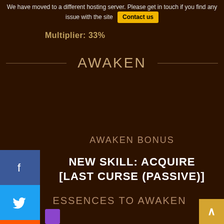We have moved to a different hosting server. Please get in touch if you find any issue with the site  Contact us
Multiplier: 33%
AWAKEN
AWAKEN BONUS
NEW SKILL: ACQUIRE [LAST CURSE (PASSIVE)]
ESSENCES TO AWAKEN